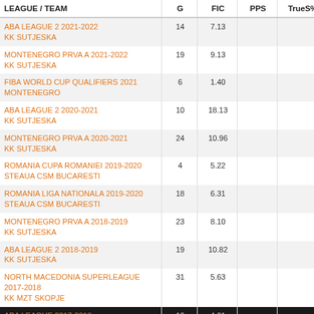| LEAGUE / TEAM | G | FIC | PPS | TrueS% |
| --- | --- | --- | --- | --- |
| ABA LEAGUE 2 2021-2022
KK SUTJESKA | 14 | 7.13 |  |  |
| MONTENEGRO PRVA A 2021-2022
KK SUTJESKA | 19 | 9.13 |  |  |
| FIBA WORLD CUP QUALIFIERS 2021
MONTENEGRO | 6 | 1.40 |  |  |
| ABA LEAGUE 2 2020-2021
KK SUTJESKA | 10 | 18.13 |  |  |
| MONTENEGRO PRVA A 2020-2021
KK SUTJESKA | 24 | 10.96 |  |  |
| ROMANIA CUPA ROMANIEI 2019-2020
STEAUA CSM BUCARESTI | 4 | 5.22 |  |  |
| ROMANIA LIGA NATIONALA 2019-2020
STEAUA CSM BUCARESTI | 18 | 6.31 |  |  |
| MONTENEGRO PRVA A 2018-2019
KK SUTJESKA | 23 | 8.10 |  |  |
| ABA LEAGUE 2 2018-2019
KK SUTJESKA | 19 | 10.82 |  |  |
| NORTH MACEDONIA SUPERLEAGUE 2017-2018
KK MZT SKOPJE | 31 | 5.63 |  |  |
| ABA LEAGUE 2017-2018
KK MZT SKOPJE | 16 | 4.61 |  |  |